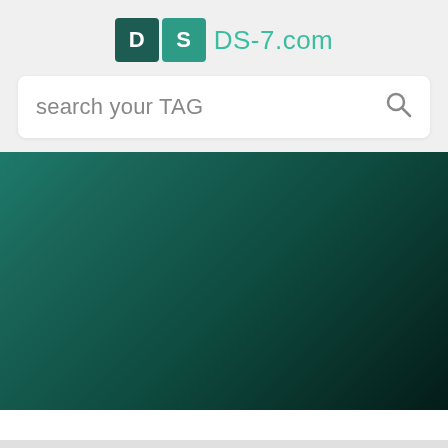[Figure (logo): DS-7.com logo with two square tiles, D in dark teal and S in medium teal, followed by DS-7.com text in teal color]
search your TAG
[Figure (illustration): Large rectangular banner with dark teal to black gradient, going from lighter teal green in the top-left to near black in the bottom-right]
#nature
Instagram posts (photos and videos)